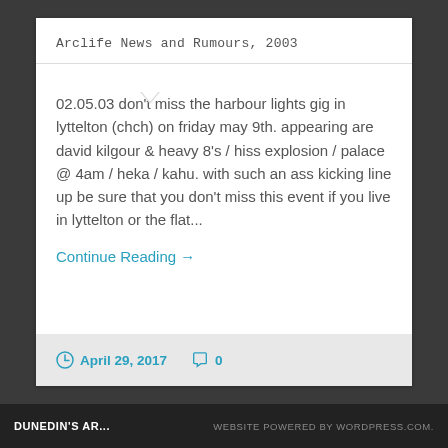Arclife News and Rumours, 2003
02.05.03 don't miss the harbour lights gig in lyttelton (chch) on friday may 9th. appearing are david kilgour & heavy 8's / hiss explosion / palace @ 4am / heka / kahu. with such an ass kicking line up be sure that you don't miss this event if you live in lyttelton or the flat...
Continue Reading →
April 29, 2017   0
DUNEDIN'S AR...   WEBSITE POWERED BY WORDPRESS.COM.